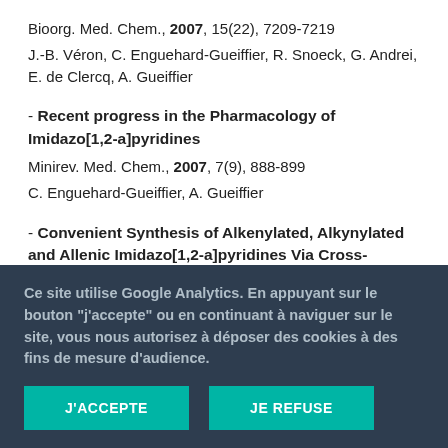Bioorg. Med. Chem., 2007, 15(22), 7209-7219
J.-B. Véron, C. Enguehard-Gueiffier, R. Snoeck, G. Andrei, E. de Clercq, A. Gueiffier
- Recent progress in the Pharmacology of Imidazo[1,2-a]pyridines
Minirev. Med. Chem., 2007, 7(9), 888-899
C. Enguehard-Gueiffier, A. Gueiffier
- Convenient Synthesis of Alkenylated, Alkynylated and Allenic Imidazo[1,2-a]pyridines Via Cross-Coupling
Ce site utilise Google Analytics. En appuyant sur le bouton "j'accepte" ou en continuant à naviguer sur le site, vous nous autorisez à déposer des cookies à des fins de mesure d'audience.